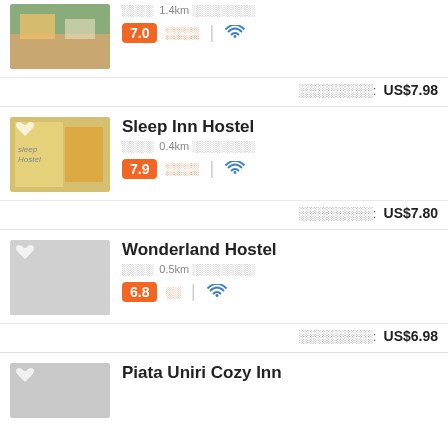[Figure (photo): Partial listing thumbnail - kitchen/hostel interior]
░░░░  1.4km ░░░░░░░░
7.0  ░░░░  | wifi
░░░░░░░░:  US$7.98
Sleep Inn Hostel
░░░░  0.4km ░░░░░░░░
7.9  ░░░░  | wifi
░░░░░░░░:  US$7.80
Wonderland Hostel
░░░░  0.5km ░░░░░░░░
6.8  ░░  | wifi
░░░░░░░░:  US$6.98
Piata Uniri Cozy Inn